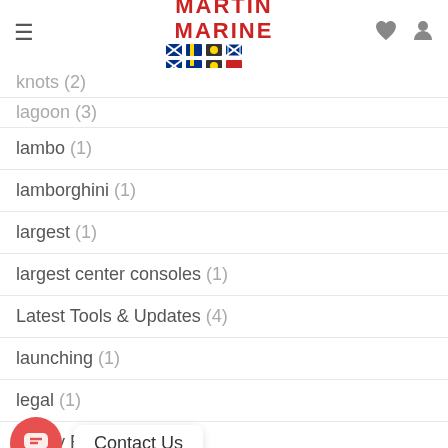MARTIN MARINE
lambo (1)
lamborghini (1)
largest (1)
largest center consoles (1)
Latest Tools & Updates (4)
launching (1)
legal (1)
Lenny Rudow (1)
le... (1)
loew (1)